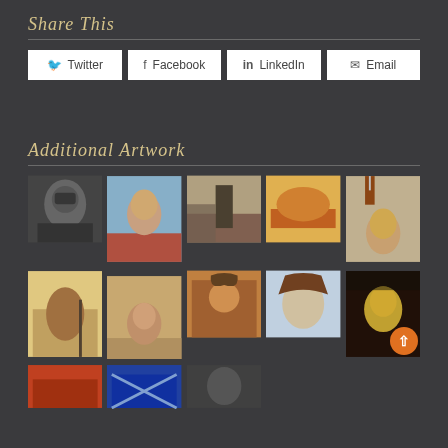Share This
Twitter  Facebook  LinkedIn  Email
Additional Artwork
[Figure (photo): Grid of thumbnail artwork images showing Native American portraits, Western scenes, a cowboy, motorcyclist in desert, friar with cross, warriors with headdresses, and other cultural artwork in two rows of five plus a partial third row.]